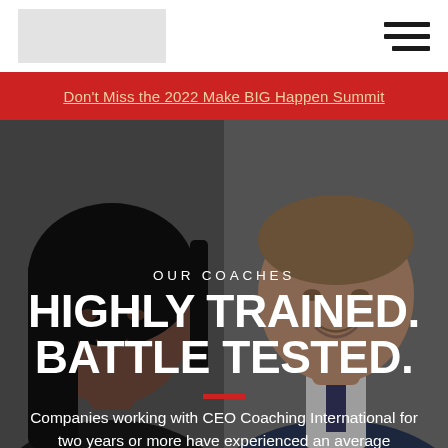[Logo] [Navigation menu icon]
Don't Miss the 2022 Make BIG Happen Summit
[Figure (photo): Two professional headshots side by side — a woman on the left with dark hair and a man on the right in a suit, smiling]
OUR COACHES
HIGHLY TRAINED. BATTLE TESTED.
Companies working with CEO Coaching International for two years or more have experienced an average EBITDA CAGR of